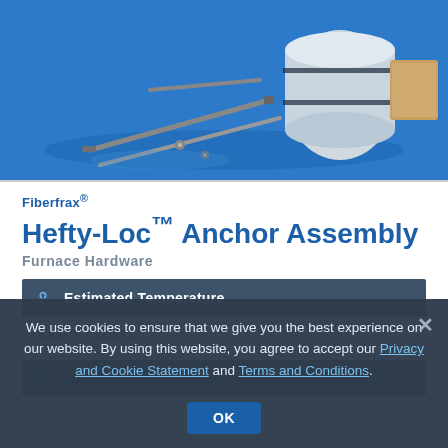[Figure (photo): Product photo of Fiberfrax Hefty-Loc Anchor Assembly components on a blue background, showing metal anchor rods, ceramic fiber blanket roll, and hardware pieces.]
Fiberfrax® Hefty-Loc™ Anchor Assembly
Furnace Hardware
| Property | Value |
| --- | --- |
| Estimated Temperature | 2300°F / 1260°C |
| Composition |  |
We use cookies to ensure that we give you the best experience on our website. By using this website, you agree to accept our Privacy and Cookie Statement and Terms and Conditions.
OK